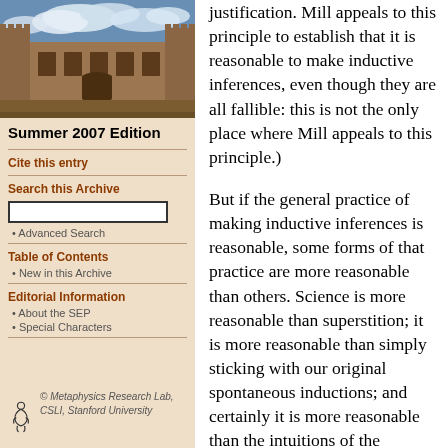[Figure (photo): Photograph of a historic stone university building with courtyards under a blue sky with clouds]
Summer 2007 Edition
Cite this entry
Search this Archive
Advanced Search
Table of Contents
New in this Archive
Editorial Information
About the SEP
Special Characters
© Metaphysics Research Lab, CSLI, Stanford University
justification. Mill appeals to this principle to establish that it is reasonable to make inductive inferences, even though they are all fallible: this is not the only place where Mill appeals to this principle.)
But if the general practice of making inductive inferences is reasonable, some forms of that practice are more reasonable than others. Science is more reasonable than superstition; it is more reasonable than simply sticking with our original spontaneous inductions; and certainly it is more reasonable than the intuitions of the rationalists — including Mill's